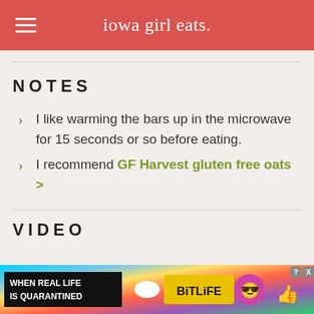iowa girl eats.
NOTES
I like warming the bars up in the microwave for 15 seconds or so before eating.
I recommend GF Harvest gluten free oats >
VIDEO
[Figure (other): Advertisement banner: WHEN REAL LIFE IS QUARANTINED - BitLife mobile game ad with rainbow background and emoji characters]